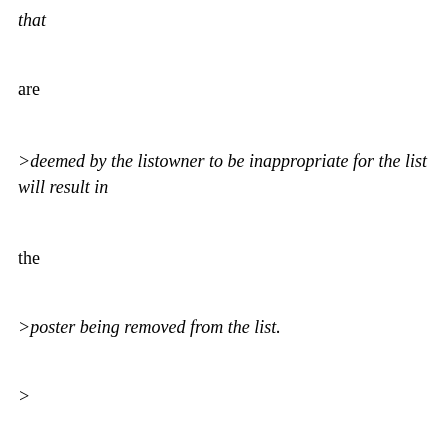that
are
>deemed by the listowner to be inappropriate for the list will result in
the
>poster being removed from the list.
>
>To sign off the list, send a message to